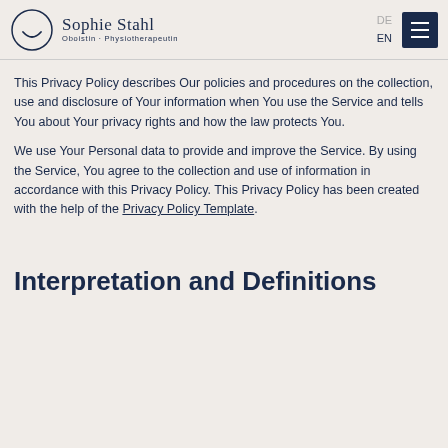[Figure (logo): Sophie Stahl logo with circular face icon, name 'Sophie Stahl' and subtitle 'Oboistin · Physiotherapeutin', language links DE/EN, and hamburger menu button]
This Privacy Policy describes Our policies and procedures on the collection, use and disclosure of Your information when You use the Service and tells You about Your privacy rights and how the law protects You.
We use Your Personal data to provide and improve the Service. By using the Service, You agree to the collection and use of information in accordance with this Privacy Policy. This Privacy Policy has been created with the help of the Privacy Policy Template.
Interpretation and Definitions